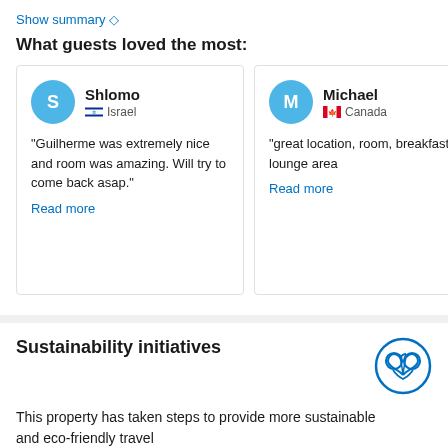Show summary ◇
What guests loved the most:
Shlomo
Israel
"Guilherme was extremely nice and room was amazing. Will try to come back asap."
Read more
Michael
Canada
"great location, room, breakfast lounge area
Read more
Sustainability initiatives
This property has taken steps to provide more sustainable and eco-friendly travel
Read more